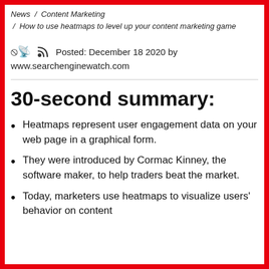News / Content Marketing / How to use heatmaps to level up your content marketing game
Posted: December 18 2020 by
www.searchenginewatch.com
30-second summary:
Heatmaps represent user engagement data on your web page in a graphical form.
They were introduced by Cormac Kinney, the software maker, to help traders beat the market.
Today, marketers use heatmaps to visualize users' behavior on content